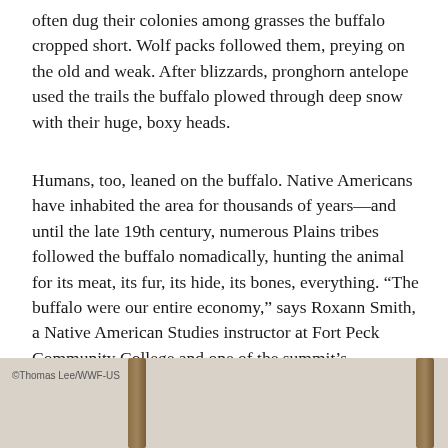often dug their colonies among grasses the buffalo cropped short. Wolf packs followed them, preying on the old and weak. After blizzards, pronghorn antelope used the trails the buffalo plowed through deep snow with their huge, boxy heads.
Humans, too, leaned on the buffalo. Native Americans have inhabited the area for thousands of years—and until the late 19th century, numerous Plains tribes followed the buffalo nomadically, hunting the animal for its meat, its fur, its hide, its bones, everything. “The buffalo were our entire economy,” says Roxann Smith, a Native American Studies instructor at Fort Peck Community College and one of the summit’s coordinators.
[Figure (photo): Partial photograph showing wooden poles against a light sandy background, with photo credit © Thomas Lee/WWF-US in the lower left corner.]
© Thomas Lee/WWF-US